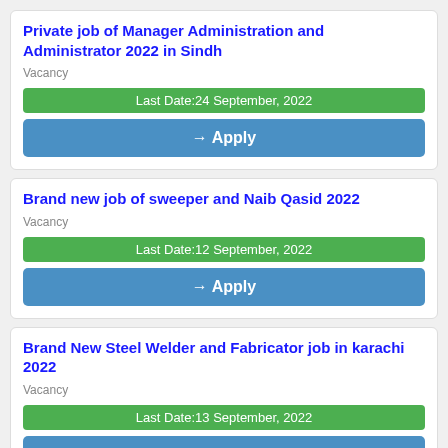Private job of Manager Administration and Administrator 2022 in Sindh
Vacancy
Last Date:24 September, 2022
→ Apply
Brand new job of sweeper and Naib Qasid 2022
Vacancy
Last Date:12 September, 2022
→ Apply
Brand New Steel Welder and Fabricator job in karachi 2022
Vacancy
Last Date:13 September, 2022
→ Apply